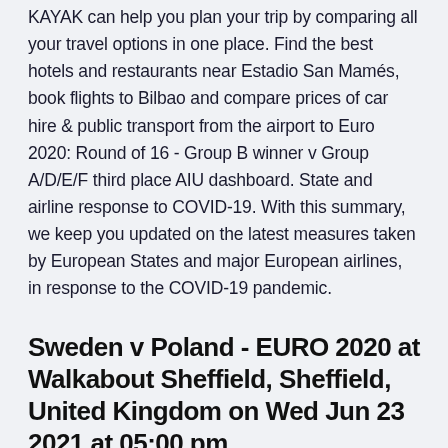KAYAK can help you plan your trip by comparing all your travel options in one place. Find the best hotels and restaurants near Estadio San Mamés, book flights to Bilbao and compare prices of car hire & public transport from the airport to Euro 2020: Round of 16 - Group B winner v Group A/D/E/F third place AIU dashboard. State and airline response to COVID-19. With this summary, we keep you updated on the latest measures taken by European States and major European airlines, in response to the COVID-19 pandemic.
Sweden v Poland - EURO 2020 at Walkabout Sheffield, Sheffield, United Kingdom on Wed Jun 23 2021 at 05:00 pm.